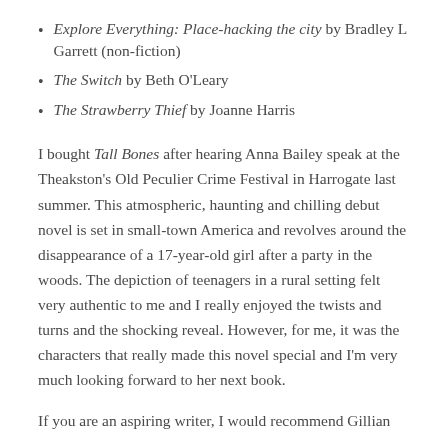Explore Everything: Place-hacking the city by Bradley L Garrett (non-fiction)
The Switch by Beth O'Leary
The Strawberry Thief by Joanne Harris
I bought Tall Bones after hearing Anna Bailey speak at the Theakston's Old Peculier Crime Festival in Harrogate last summer. This atmospheric, haunting and chilling debut novel is set in small-town America and revolves around the disappearance of a 17-year-old girl after a party in the woods. The depiction of teenagers in a rural setting felt very authentic to me and I really enjoyed the twists and turns and the shocking reveal. However, for me, it was the characters that really made this novel special and I'm very much looking forward to her next book.
If you are an aspiring writer, I would recommend Gillian